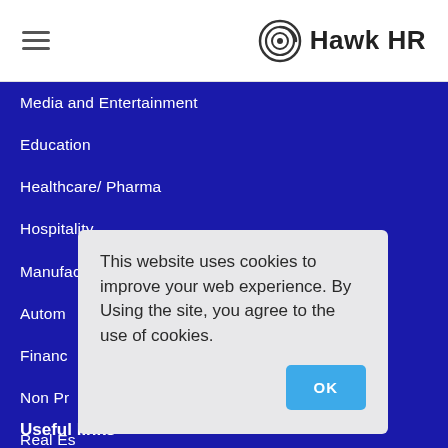Hawk HR
Media and Entertainment
Education
Healthcare/ Pharma
Hospitality
Manufacturing
Autom…
Financ…
Non Pr…
Real Es…
Consu…
And m…
This website uses cookies to improve your web experience. By Using the site, you agree to the use of cookies.
Useful links